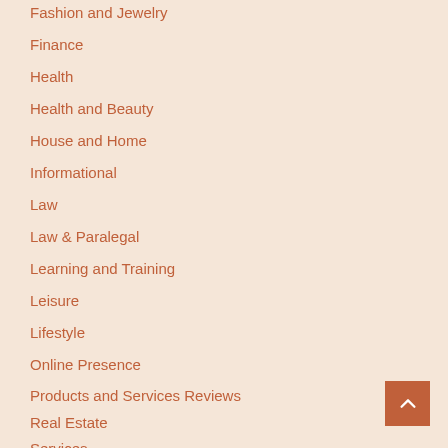Fashion and Jewelry
Finance
Health
Health and Beauty
House and Home
Informational
Law
Law & Paralegal
Learning and Training
Leisure
Lifestyle
Online Presence
Products and Services Reviews
Real Estate
Services